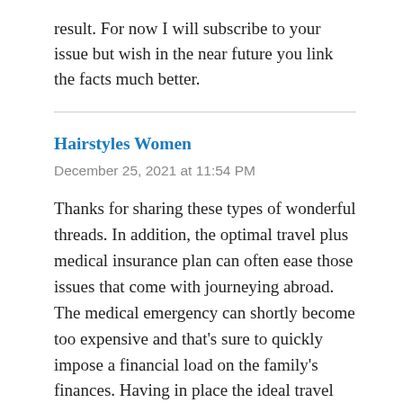result. For now I will subscribe to your issue but wish in the near future you link the facts much better.
Hairstyles Women
December 25, 2021 at 11:54 PM
Thanks for sharing these types of wonderful threads. In addition, the optimal travel plus medical insurance plan can often ease those issues that come with journeying abroad. The medical emergency can shortly become too expensive and that's sure to quickly impose a financial load on the family's finances. Having in place the ideal travel insurance package prior